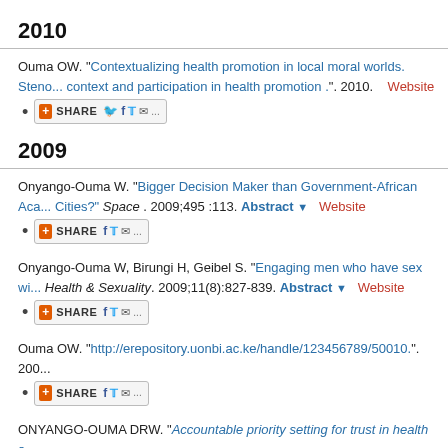2010
Ouma OW. "Contextualizing health promotion in local moral worlds. Steno... context and participation in health promotion .". 2010.  Website
SHARE [social share button]
2009
Onyango-Ouma W. "Bigger Decision Maker than Government-African Aca... Cities?" Space . 2009;495 :113. Abstract ▼   Website
SHARE [social share button]
Onyango-Ouma W, Birungi H, Geibel S. "Engaging men who have sex wi... Health & Sexuality. 2009;11(8):827-839. Abstract ▼   Website
SHARE [social share button]
Ouma OW. "http://erepository.uonbi.ac.ke/handle/123456789/50010.". 200...
SHARE [social share button]
ONYANGO-OUMA DRW. "Accountable priority setting for trust in health s...